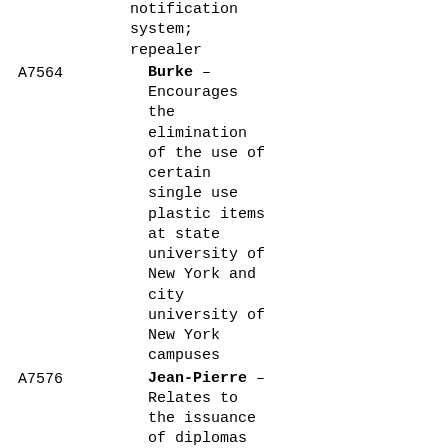notification system; repealer
A7564 Burke – Encourages the elimination of the use of certain single use plastic items at state university of New York and city university of New York campuses
A7576 Jean-Pierre – Relates to the issuance of diplomas to youth who are placed, committed, supervised, detained or